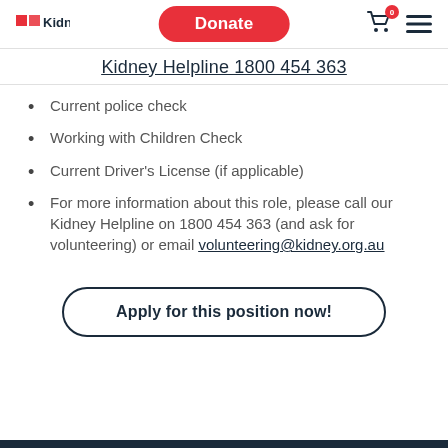Kidney | Donate | Cart 0 | Menu
Kidney Helpline 1800 454 363
Current police check
Working with Children Check
Current Driver's License (if applicable)
For more information about this role, please call our Kidney Helpline on 1800 454 363 (and ask for volunteering) or email volunteering@kidney.org.au
Apply for this position now!